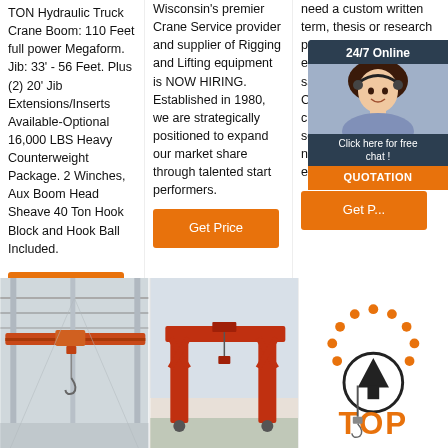TON Hydraulic Truck Crane Boom: 110 Feet full power Megaform. Jib: 33' - 56 Feet. Plus (2) 20' Jib Extensions/Inserts Available-Optional 16,000 LBS Heavy Counterweight Package. 2 Winches, Aux Boom Head Sheave 40 Ton Hook Block and Hook Ball Included.
Wisconsin's premier Crane Service provider and supplier of Rigging and Lifting equipment is NOW HIRING. Established in 1980, we are strategically positioned to expand our market share through talented start performers.
need a custom written term, thesis or research paper as well as an essay or dissertation sample, choosing Custom Scholarship cheap custom essay service option. Get needed assistance that every student
[Figure (infographic): 24/7 Online chat overlay with woman in headset photo, 'Click here for free chat!' text and QUOTATION button]
[Figure (photo): Indoor overhead bridge crane in industrial building]
[Figure (photo): Red gantry crane outdoors]
[Figure (logo): TOP logo with crane hook icon and dot pattern above]